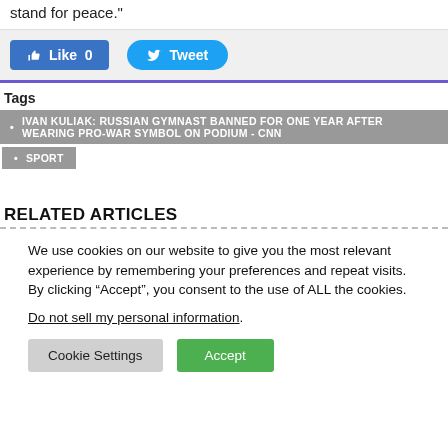stand for peace."
[Figure (screenshot): Social sharing buttons: Facebook Like (0) and Twitter Tweet buttons]
Tags
IVAN KULIAK: RUSSIAN GYMNAST BANNED FOR ONE YEAR AFTER WEARING PRO-WAR SYMBOL ON PODIUM - CNN
SPORT
RELATED ARTICLES
We use cookies on our website to give you the most relevant experience by remembering your preferences and repeat visits. By clicking “Accept”, you consent to the use of ALL the cookies.
Do not sell my personal information.
Cookie Settings  Accept